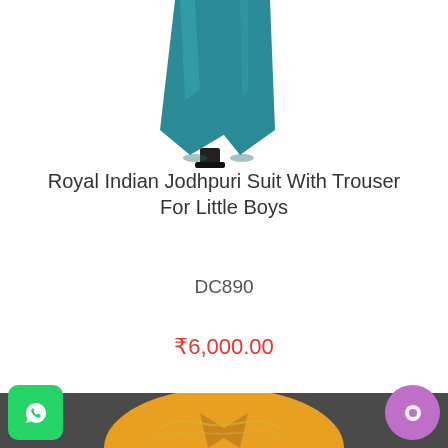[Figure (photo): Teal/blue-green Jodhpuri trouser on a mannequin stand, cropped showing lower half of the garment on white background]
Royal Indian Jodhpuri Suit With Trouser For Little Boys
DC890
₹6,000.00
[Figure (photo): Yellow/mustard embroidered ethnic jacket for boys on dark grey background, partially visible at bottom of page]